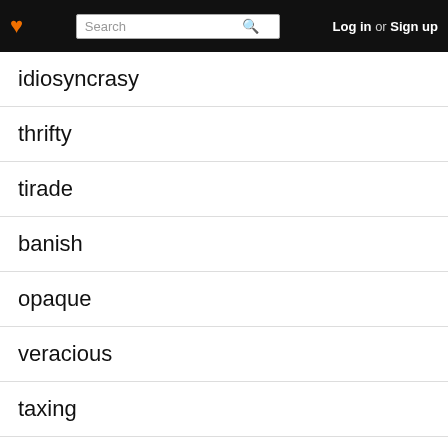Search | Log in or Sign up
idiosyncrasy
thrifty
tirade
banish
opaque
veracious
taxing
euphoria
enumerate